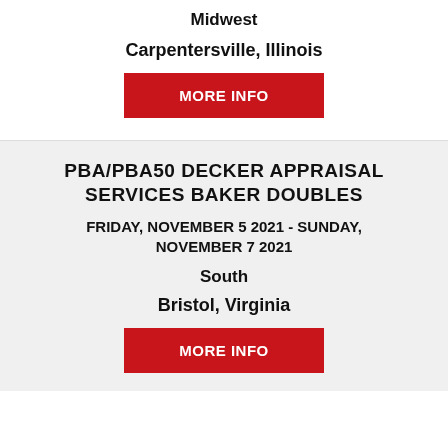Midwest
Carpentersville, Illinois
MORE INFO
PBA/PBA50 DECKER APPRAISAL SERVICES BAKER DOUBLES
FRIDAY, NOVEMBER 5 2021 - SUNDAY, NOVEMBER 7 2021
South
Bristol, Virginia
MORE INFO